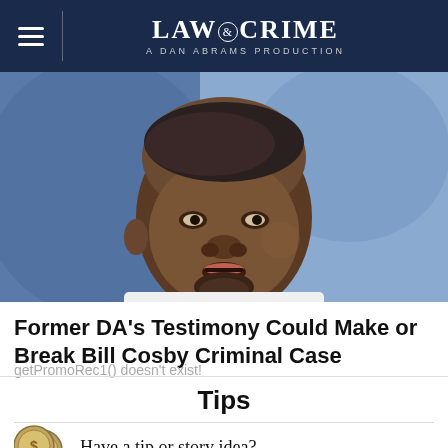LAW & CRIME — A DAN ABRAMS PRODUCTION
[Figure (photo): Close-up photo of Bill Cosby, an older man wearing a white shirt, set against a blue blurred background]
Former DA's Testimony Could Make or Break Bill Cosby Criminal Case
getPromoRec1() doesn't exist!
Tips
Have a tip or story idea?